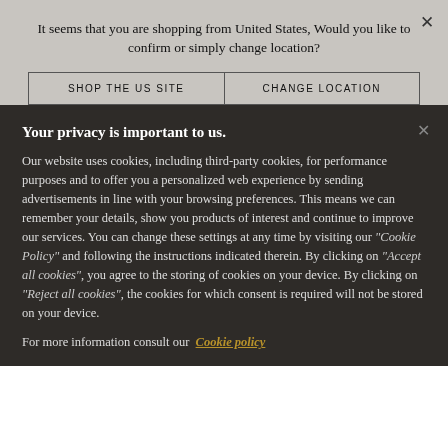It seems that you are shopping from United States, Would you like to confirm or simply change location?
SHOP THE US SITE
CHANGE LOCATION
Your privacy is important to us.
Our website uses cookies, including third-party cookies, for performance purposes and to offer you a personalized web experience by sending advertisements in line with your browsing preferences. This means we can remember your details, show you products of interest and continue to improve our services. You can change these settings at any time by visiting our “Cookie Policy” and following the instructions indicated therein. By clicking on “Accept all cookies”, you agree to the storing of cookies on your device. By clicking on “Reject all cookies”, the cookies for which consent is required will not be stored on your device.
For more information consult our Cookie policy